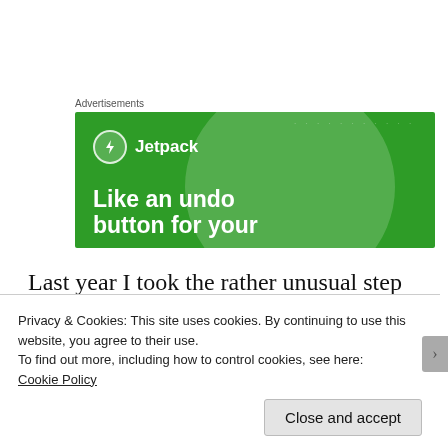Advertisements
[Figure (illustration): Jetpack advertisement banner on green background with logo and tagline 'Like an undo button for your']
Last year I took the rather unusual step of not signing up for a contract when my old one
Privacy & Cookies: This site uses cookies. By continuing to use this website, you agree to their use.
To find out more, including how to control cookies, see here:
Cookie Policy
Close and accept